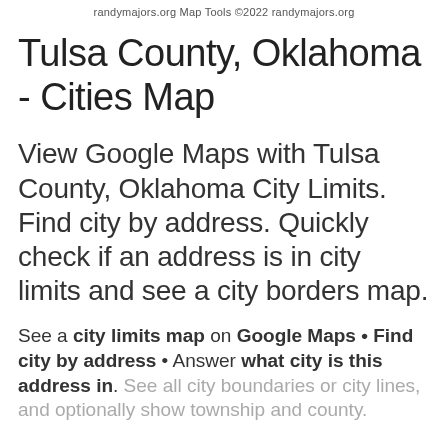randymajors.org Map Tools ©2022 randymajors.org
Tulsa County, Oklahoma - Cities Map
View Google Maps with Tulsa County, Oklahoma City Limits. Find city by address. Quickly check if an address is in city limits and see a city borders map.
See a city limits map on Google Maps • Find city by address • Answer what city is this address in. See all city boundaries or city lines, and optionally show township and county.